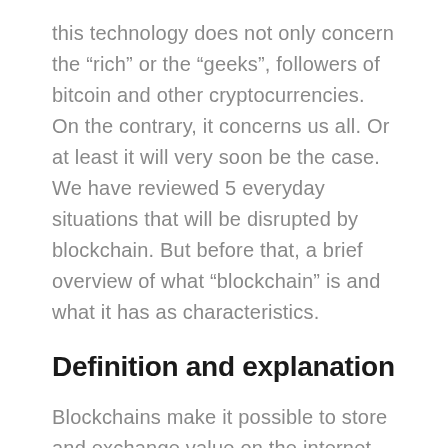this technology does not only concern the “rich” or the “geeks”, followers of bitcoin and other cryptocurrencies. On the contrary, it concerns us all. Or at least it will very soon be the case. We have reviewed 5 everyday situations that will be disrupted by blockchain. But before that, a brief overview of what “blockchain” is and what it has as characteristics.
Definition and explanation
Blockchains make it possible to store and exchange value on the internet without a centralized intermediary. They are the technological engine of cryptocurrencies, the